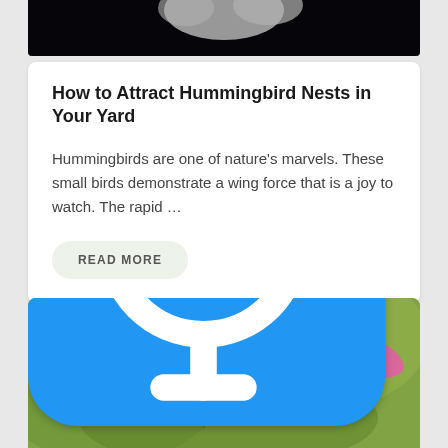[Figure (photo): Dark background photo of hummingbird or flower, cropped at top]
How to Attract Hummingbird Nests in Your Yard
Hummingbirds are one of nature's marvels. These small birds demonstrate a wing force that is a joy to watch. The rapid …
READ MORE
[Figure (photo): A hummingbird approaching a large pink flower (cosmos) against a green blurred background, with a blue 'leave a message' voice button overlay]